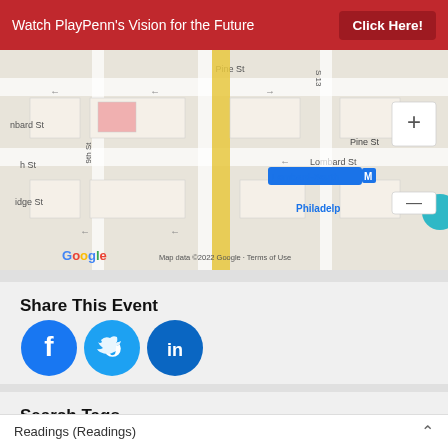Watch PlayPenn's Vision for the Future   Click Here!
[Figure (map): Google Map showing street map of Philadelphia neighborhood near Lombard-South subway station, with streets including Pine St, Lombard St, S 15th St, S 13th St, 9th St, Ridge St. Map data ©2022 Google · Terms of Use]
Share This Event
[Figure (infographic): Social sharing icons: Facebook (blue circle with f), Twitter (blue circle with bird), LinkedIn (blue circle with in)]
Search Tags
Readings (Readings)
2022 Conference Reading (Readings)